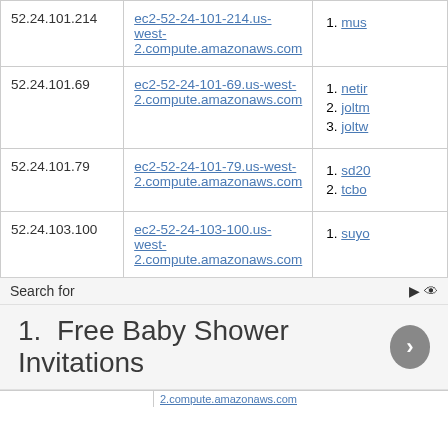| IP Address | Hostname | Associated Domains |
| --- | --- | --- |
| 52.24.101.214 | ec2-52-24-101-214.us-west-2.compute.amazonaws.com | 1. mus... |
| 52.24.101.69 | ec2-52-24-101-69.us-west-2.compute.amazonaws.com | 1. netir...
2. joltm...
3. joltw... |
| 52.24.101.79 | ec2-52-24-101-79.us-west-2.compute.amazonaws.com | 1. sd20...
2. tcbo... |
| 52.24.103.100 | ec2-52-24-103-100.us-west-2.compute.amazonaws.com | 1. suyo... |
Search for
1. Free Baby Shower Invitations